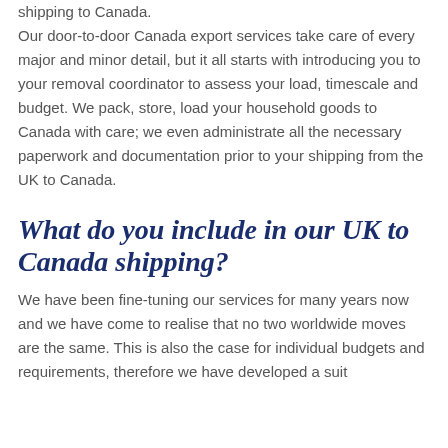shipping to Canada. Our door-to-door Canada export services take care of every major and minor detail, but it all starts with introducing you to your removal coordinator to assess your load, timescale and budget. We pack, store, load your household goods to Canada with care; we even administrate all the necessary paperwork and documentation prior to your shipping from the UK to Canada.
What do you include in our UK to Canada shipping?
We have been fine-tuning our services for many years now and we have come to realise that no two worldwide moves are the same. This is also the case for individual budgets and requirements, therefore we have developed a suit...